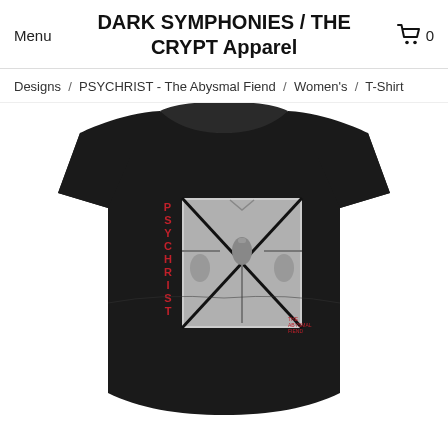Menu   DARK SYMPHONIES / THE CRYPT Apparel   🛒 0
Designs / PSYCHRIST - The Abysmal Fiend / Women's / T-Shirt
[Figure (photo): Black women's t-shirt with PSYCHRIST - The Abysmal Fiend album art graphic. The design shows 'PSYCHRIST' written vertically in red letters on the left side, and a detailed grey/silver graphic image in a square frame featuring a central figure with symmetrical elements. Small text at bottom right of the design reads 'THE ABYSMAL FIEND'.]